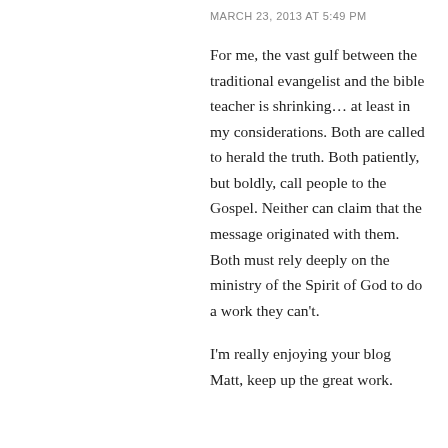MARCH 23, 2013 AT 5:49 PM
For me, the vast gulf between the traditional evangelist and the bible teacher is shrinking… at least in my considerations. Both are called to herald the truth. Both patiently, but boldly, call people to the Gospel. Neither can claim that the message originated with them. Both must rely deeply on the ministry of the Spirit of God to do a work they can't.
I'm really enjoying your blog Matt, keep up the great work.